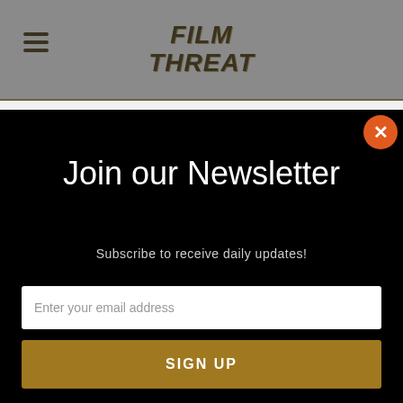[Figure (logo): Film Threat logo with hamburger menu icon on the left, displayed in a gray header bar]
Join our Newsletter
Subscribe to receive daily updates!
Enter your email address
SIGN UP
emails!